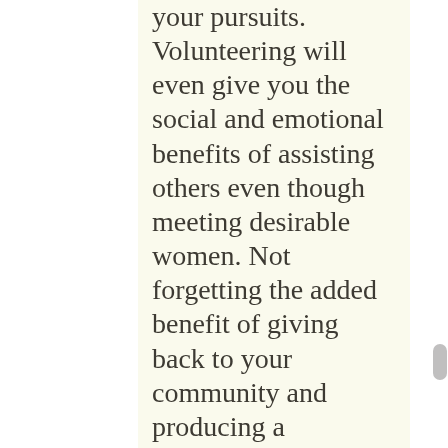your pursuits. Volunteering will even give you the social and emotional benefits of assisting others even though meeting desirable women. Not forgetting the added benefit of giving back to your community and producing a difference within their lives. It's a win-win predicament for you plus the girls. They will appreciate your dedication on your cause, and that is what makes them coming back for further.